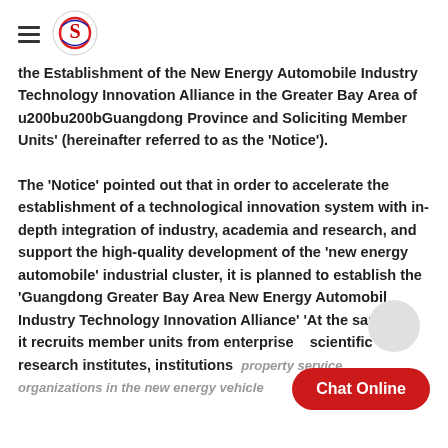[hamburger menu icon] [S logo]
the Establishment of the New Energy Automobile Industry Technology Innovation Alliance in the Greater Bay Area of u200bu200bGuangdong Province and Soliciting Member Units' (hereinafter referred to as the 'Notice').
The 'Notice' pointed out that in order to accelerate the establishment of a technological innovation system with in-depth integration of industry, academia and research, and support the high-quality development of the 'new energy automobile' industrial cluster, it is planned to establish the 'Guangdong Greater Bay Area New Energy Automobile Industry Technology Innovation Alliance' 'At the same time, it recruits member units from enterprises, scientific research institutes, institutions, property service organizations in the new energy vehicle